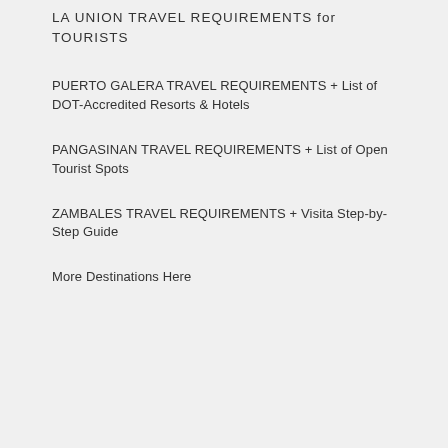LA UNION TRAVEL REQUIREMENTS for TOURISTS
PUERTO GALERA TRAVEL REQUIREMENTS + List of DOT-Accredited Resorts & Hotels
PANGASINAN TRAVEL REQUIREMENTS + List of Open Tourist Spots
ZAMBALES TRAVEL REQUIREMENTS + Visita Step-by-Step Guide
More Destinations Here